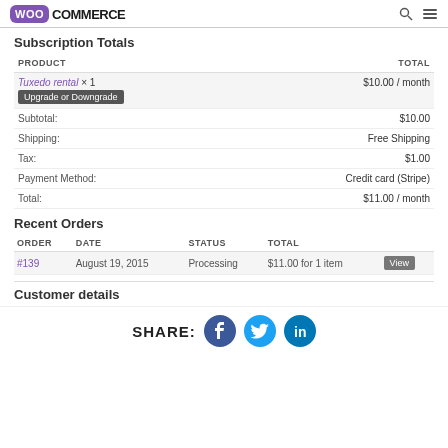WooCommerce
Subscription Totals
| PRODUCT | TOTAL |
| --- | --- |
| Tuxedo rental × 1 [Upgrade or Downgrade] | $10.00 / month |
| Subtotal: | $10.00 |
| Shipping: | Free Shipping |
| Tax: | $1.00 |
| Payment Method: | Credit card (Stripe) |
| Total: | $11.00 / month |
Recent Orders
| ORDER | DATE | STATUS | TOTAL |
| --- | --- | --- | --- |
| #139 | August 19, 2015 | Processing | $11.00 for 1 item |
Customer details
SHARE: Facebook Twitter LinkedIn